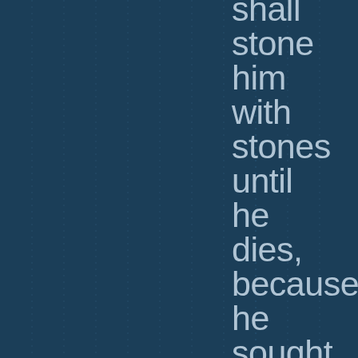shall stone him with stones until he dies, because he sought to entice you away from the LORD